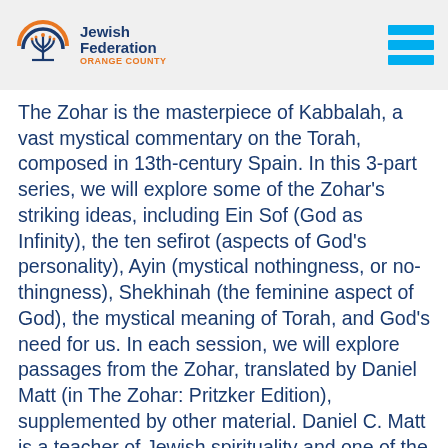Jewish Federation Orange County
The Zohar is the masterpiece of Kabbalah, a vast mystical commentary on the Torah, composed in 13th-century Spain. In this 3-part series, we will explore some of the Zohar’s striking ideas, including Ein Sof (God as Infinity), the ten sefirot (aspects of God’s personality), Ayin (mystical nothingness, or nothingness), Shekhinah (the feminine aspect of God), the mystical meaning of Torah, and God’s need for us. In each session, we will explore passages from the Zohar, translated by Daniel Matt (in The Zohar: Pritzker Edition), supplemented by other material. Daniel C. Matt is a teacher of Jewish spirituality and one of the world’s leading authorities on Kabbalah and the Zohar. He has been featured in Time and Newsweek and has appeared on National Public